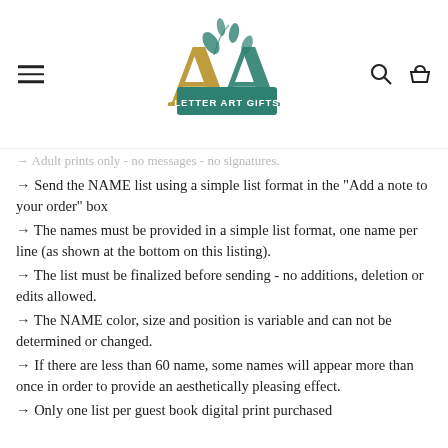Letter Art Gifts logo with hamburger menu, search, and basket icons
→ Adult prints only - no messages - no signatures.
→ Send the NAME list using a simple list format in the "Add a note to your order" box
→ The names must be provided in a simple list format, one name per line (as shown at the bottom on this listing).
→ The list must be finalized before sending - no additions, deletion or edits allowed.
→ The NAME color, size and position is variable and can not be determined or changed.
→ If there are less than 60 name, some names will appear more than once in order to provide an aesthetically pleasing effect.
→ Only one list per guest book digital print purchased